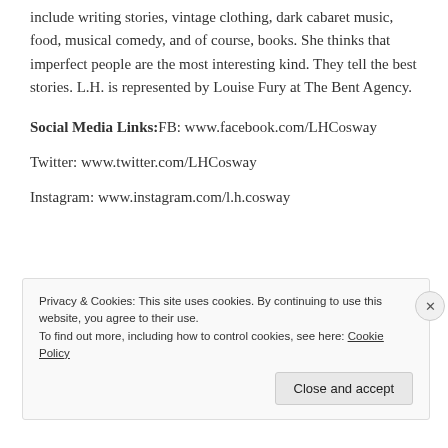include writing stories, vintage clothing, dark cabaret music, food, musical comedy, and of course, books. She thinks that imperfect people are the most interesting kind. They tell the best stories. L.H. is represented by Louise Fury at The Bent Agency.
Social Media Links: FB: www.facebook.com/LHCosway
Twitter: www.twitter.com/LHCosway
Instagram: www.instagram.com/l.h.cosway
Privacy & Cookies: This site uses cookies. By continuing to use this website, you agree to their use. To find out more, including how to control cookies, see here: Cookie Policy
Close and accept